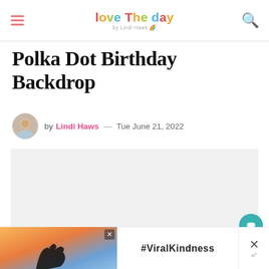Love The Day by Lindi Haws
Polka Dot Birthday Backdrop
by Lindi Haws — Tue June 21, 2022
[Figure (photo): Large light gray placeholder image area for the blog post main image]
[Figure (screenshot): Advertisement banner showing hands forming a heart shape with #ViralKindness text on sunset background]